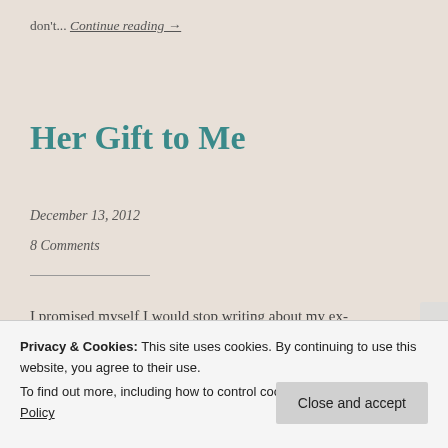don't... Continue reading →
Her Gift to Me
December 13, 2012
8 Comments
I promised myself I would stop writing about my ex-girlfriend, but there's a person in my life at the moment...
Privacy & Cookies: This site uses cookies. By continuing to use this website, you agree to their use.
To find out more, including how to control cookies, see here: Cookie Policy